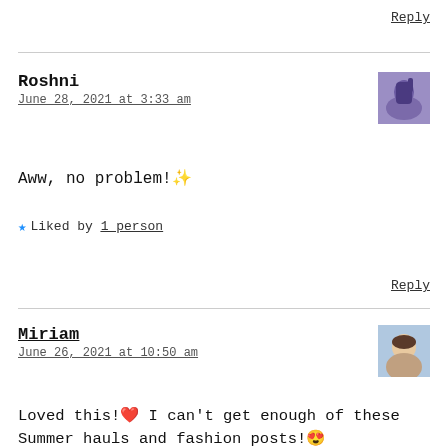Reply
Roshni
June 28, 2021 at 3:33 am
Aww, no problem! ✨
★ Liked by 1 person
Reply
Miriam
June 26, 2021 at 10:50 am
Loved this!❤ I can't get enough of these Summer hauls and fashion posts!😍